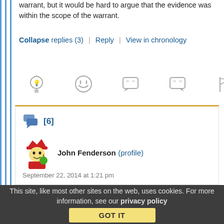warrant, but it would be hard to argue that the evidence was within the scope of the warrant.
Collapse replies (3) | Reply | View in chronology
[Figure (infographic): Row of 5 comment reaction icons: lightbulb, laughing face, open-quote speech bubble, close-quote speech bubble, flag]
[Figure (infographic): Comment block [6] with avatar of cartoon king character for user John Fenderson (profile), dated September 22, 2014 at 1:21 pm]
This site, like most other sites on the web, uses cookies. For more information, see our privacy policy
GOT IT